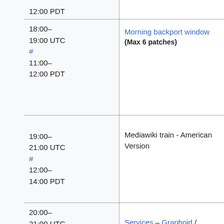| Time | Event | Details |
| --- | --- | --- |
| 12:00 PDT |  |  |
| 18:00–19:00 UTC # 11:00–12:00 PDT | Morning backport window (Max 6 patches) |  |
| 19:00–21:00 UTC # 12:00–14:00 PDT | Mediawiki train - American Version |  |
| 20:00–21:00 UTC # 13:00–14:00 PDT | Services – Graphoid / ORES |  |
| 23:00–00:00 UTC |  |  |